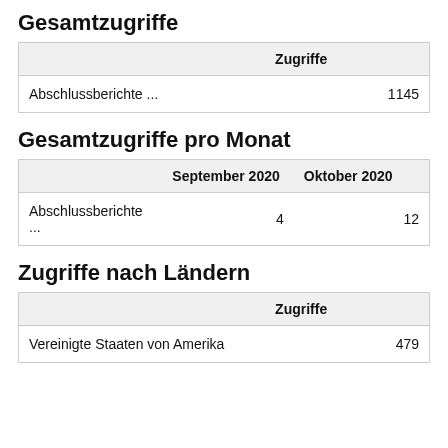Gesamtzugriffe
|  | Zugriffe |
| --- | --- |
| Abschlussberichte ... | 1145 |
Gesamtzugriffe pro Monat
|  | September 2020 | Oktober 2020 |
| --- | --- | --- |
| Abschlussberichte ... | 4 | 12 |
Zugriffe nach Ländern
|  | Zugriffe |
| --- | --- |
| Vereinigte Staaten von Amerika | 479 |